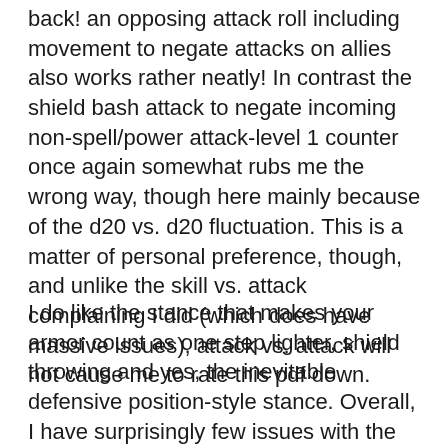back! an opposing attack roll including movement to negate attacks on allies also works rather neatly! In contrast the shield bash attack to negate incoming non-spell/power attack-level 1 counter once again somewhat rubs me the wrong way, though here mainly because of the d20 vs. d20 fluctuation. This is a matter of personal preference, though, and unlike the skill vs. attack complaining I did (which does have massive issues), attack vs. attack will not cause me to rate this pdf down.
I do like the stance that makes your armor count as one step lighter, shield throwing and yes, the inevitable defensive position-style stance. Overall, I have surprisingly few issues with the whole discipline and consider it perhaps the best one so far...if you can deal with one concept.